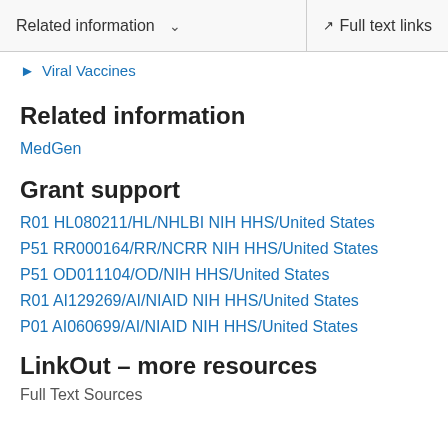Related information  ∨  Full text links
Viral Vaccines
Related information
MedGen
Grant support
R01 HL080211/HL/NHLBI NIH HHS/United States
P51 RR000164/RR/NCRR NIH HHS/United States
P51 OD011104/OD/NIH HHS/United States
R01 AI129269/AI/NIAID NIH HHS/United States
P01 AI060699/AI/NIAID NIH HHS/United States
LinkOut – more resources
Full Text Sources